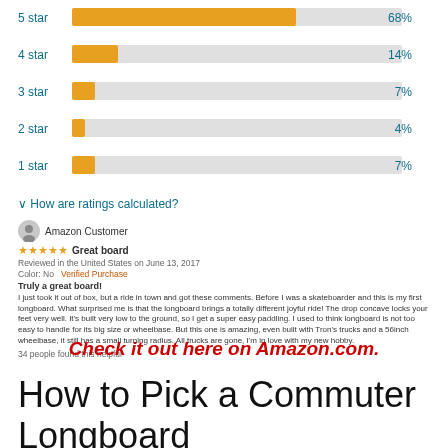[Figure (bar-chart): Star rating distribution]
How are ratings calculated?
Amazon Customer
★★★★★ Great board
Reviewed in the United States on June 13, 2017
Color: No | Verified Purchase
Truly a great board!
I just took it out of box, but a ride in town and got these comments. Before I was a skateboarder and this is my first longboard. What surprised me is that the longboard brings a totally different joyful ride! The drop concave locks your feet very well. It's built very low to the ground, so I get a super easy paddling. I used to think longboard is not too easy to handle for its big size or wheelbase. But this one is amazing, even built with Tron's trucks and a 56inch wheelbase, it still has a small turning radius. All trucks are gone, I'm in love with my new hobby.
34 people found this helpful
Check it out here on Amazon.com.
How to Pick a Commuter Longboard